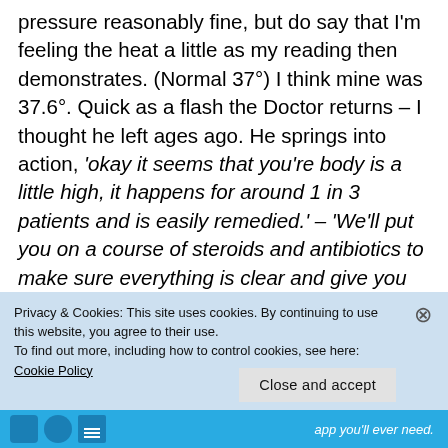pressure reasonably fine, but do say that I'm feeling the heat a little as my reading then demonstrates. (Normal 37°) I think mine was 37.6°. Quick as a flash the Doctor returns – I thought he left ages ago. He springs into action, 'okay it seems that you're body is a little high, it happens for around 1 in 3 patients and is easily remedied.' – 'We'll put you on a course of steroids and antibiotics to make sure everything is clear and give you regular monitoring.' 'But you
Privacy & Cookies: This site uses cookies. By continuing to use this website, you agree to their use.
To find out more, including how to control cookies, see here: Cookie Policy
Close and accept
app you'll ever need.